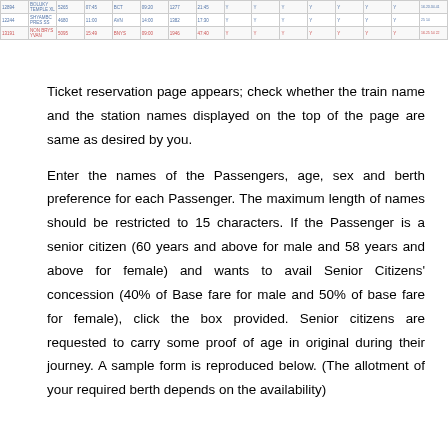[Figure (table-as-image): Partial screenshot of a train search results table showing train names, numbers, departure/arrival times, and availability columns]
Ticket reservation page appears; check whether the train name and the station names displayed on the top of the page are same as desired by you.
Enter the names of the Passengers, age, sex and berth preference for each Passenger. The maximum length of names should be restricted to 15 characters. If the Passenger is a senior citizen (60 years and above for male and 58 years and above for female) and wants to avail Senior Citizens' concession (40% of Base fare for male and 50% of base fare for female), click the box provided. Senior citizens are requested to carry some proof of age in original during their journey. A sample form is reproduced below. (The allotment of your required berth depends on the availability)